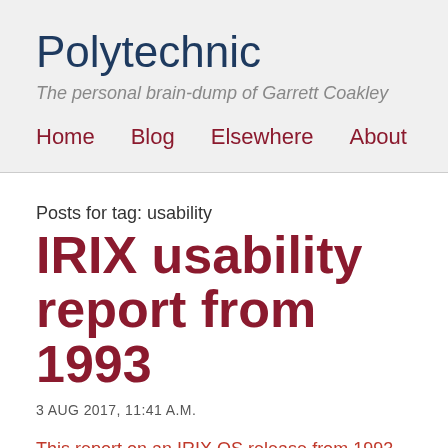Polytechnic
The personal brain-dump of Garrett Coakley
Home   Blog   Elsewhere   About
Posts for tag: usability
IRIX usability report from 1993
3 AUG 2017, 11:41 A.M.
This report on an IRIX OS release from 1993 shows that the more things change, the more things stay the same.